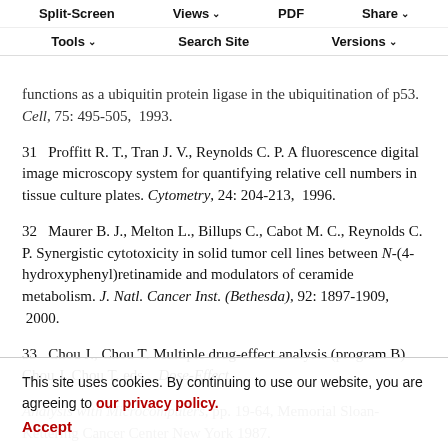Split-Screen  Views  PDF  Share  Tools  Search Site  Versions
functions as a ubiquitin protein ligase in the ubiquitination of p53. Cell, 75: 495-505, 1993.
31  Proffitt R. T., Tran J. V., Reynolds C. P. A fluorescence digital image microscopy system for quantifying relative cell numbers in tissue culture plates. Cytometry, 24: 204-213, 1996.
32  Maurer B. J., Melton L., Billups C., Cabot M. C., Reynolds C. P. Synergistic cytotoxicity in solid tumor cell lines between N-(4-hydroxyphenyl)retinamide and modulators of ceramide metabolism. J. Natl. Cancer Inst. (Bethesda), 92: 1897-1909, 2000.
33  Chou J., Chou T. Multiple drug-effect analysis (program B) Chou J. Chou T. eds., Dose-Effect Analysis with Microcomputers, pp. 19-64, Memorial Sloan-Kettering Cancer Center New York 1987.
34  Snedecor G. W., Cochran W. G., Statistical Methods, 6th Edition, p. 271-275, The Iowa State University Press Ames, IA 1967.
This site uses cookies. By continuing to use our website, you are agreeing to our privacy policy. Accept